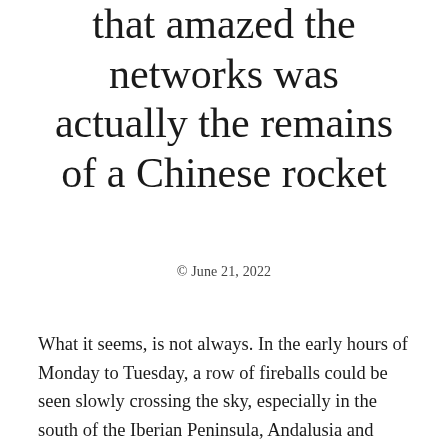that amazed the networks was actually the remains of a Chinese rocket
© June 21, 2022
What it seems, is not always. In the early hours of Monday to Tuesday, a row of fireballs could be seen slowly crossing the sky, especially in the south of the Iberian Peninsula, Andalusia and North Africa. Many people came to think